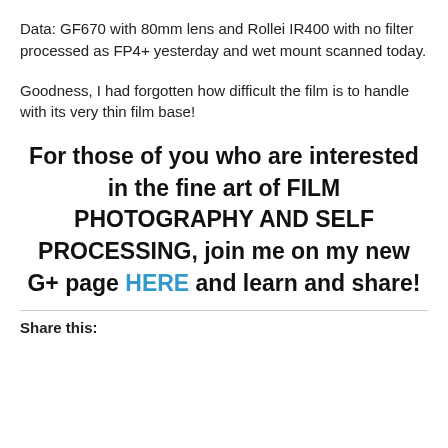Data: GF670 with 80mm lens and Rollei IR400 with no filter processed as FP4+ yesterday and wet mount scanned today.
Goodness, I had forgotten how difficult the film is to handle with its very thin film base!
For those of you who are interested in the fine art of FILM PHOTOGRAPHY AND SELF PROCESSING, join me on my new G+ page HERE and learn and share!
Share this: